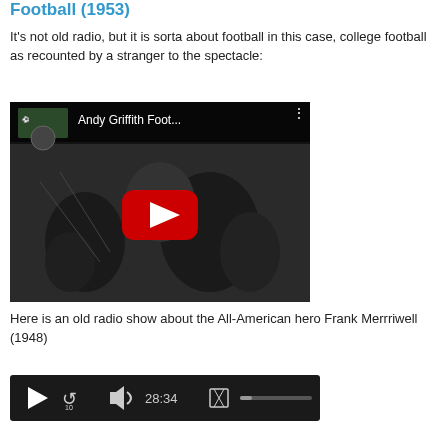Football (1953)
It's not old radio, but it is sorta about football in this case, college football as recounted by a stranger to the spectacle:
[Figure (screenshot): YouTube video embed showing 'Andy Griffith Foot...' with a red play button over a black and white cartoon/comic image of football-related figures]
Here is an old radio show about the All-American hero Frank Merrriwell (1948)
[Figure (screenshot): Audio player bar with play button, replay 10 seconds, volume, time display showing 28:34, delete icon, and a progress bar]